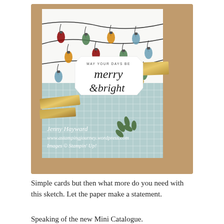[Figure (photo): A handmade Christmas card featuring a Christmas lights patterned paper on top, a mint/teal grid paper on the bottom, a white hexagonal sentiment label reading 'MAY YOUR DAYS BE merry & bright', gold glitter ribbon strips, green leaf die-cut, and a gold brad. Watermark text reads: Jenny Hayward, www.astampingjourney.wordpress.com, Images © Stampin' Up!]
Simple cards but then what more do you need with this sketch. Let the paper make a statement.
Speaking of the new Mini Catalogue.